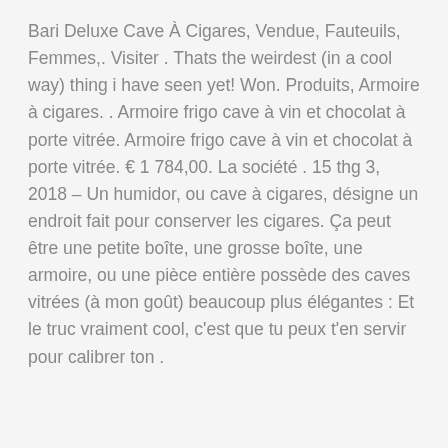Bari Deluxe Cave À Cigares, Vendue, Fauteuils, Femmes,. Visiter . Thats the weirdest (in a cool way) thing i have seen yet! Won. Produits, Armoire à cigares. . Armoire frigo cave à vin et chocolat à porte vitrée. Armoire frigo cave à vin et chocolat à porte vitrée. € 1 784,00. La société . 15 thg 3, 2018 – Un humidor, ou cave à cigares, désigne un endroit fait pour conserver les cigares. Ça peut être une petite boîte, une grosse boîte, une armoire, ou une pièce entière possède des caves vitrées (à mon goût) beaucoup plus élégantes : Et le truc vraiment cool, c'est que tu peux t'en servir pour calibrer ton .